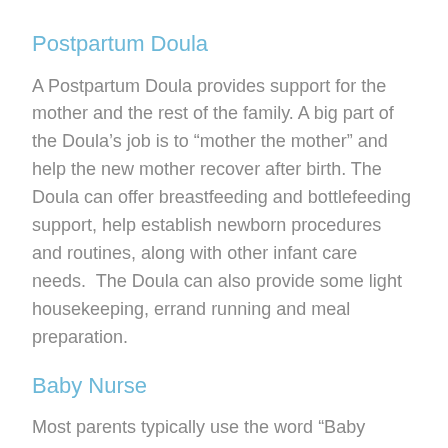Postpartum Doula
A Postpartum Doula provides support for the mother and the rest of the family. A big part of the Doula’s job is to “mother the mother” and help the new mother recover after birth. The Doula can offer breastfeeding and bottlefeeding support, help establish newborn procedures and routines, along with other infant care needs.  The Doula can also provide some light housekeeping, errand running and meal preparation.
Baby Nurse
Most parents typically use the word “Baby Nurse” to describe around-the-clock infant care assistance. This person is usually not a